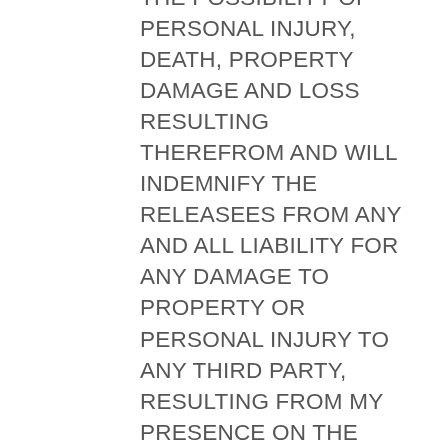THE POSSIBILITY OF PERSONAL INJURY, DEATH, PROPERTY DAMAGE AND LOSS RESULTING THEREFROM AND WILL INDEMNIFY THE RELEASEES FROM ANY AND ALL LIABILITY FOR ANY DAMAGE TO PROPERTY OR PERSONAL INJURY TO ANY THIRD PARTY, RESULTING FROM MY PRESENCE ON THE FACILITIES AND/OR ENGAGEMENT IN THE CLUB EVENT, WHILE, DURING OR AFTER